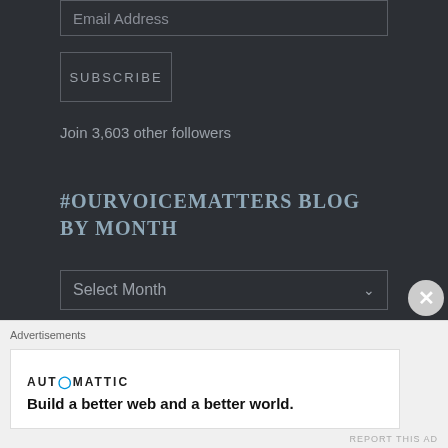Email Address
SUBSCRIBE
Join 3,603 other followers
#OURVOICEMATTERS BLOG BY MONTH
Select Month
#OURVOICEMATTERS BY CATEGORY
Advertisements
[Figure (other): Automattic advertisement banner: 'Build a better web and a better world.']